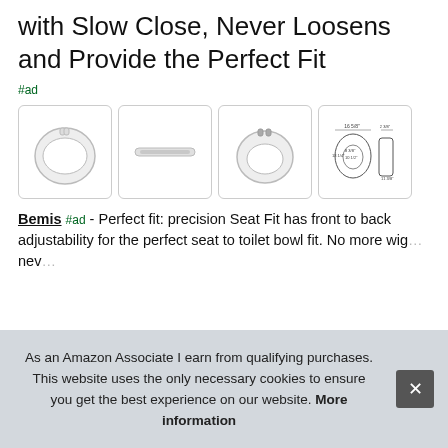with Slow Close, Never Loosens and Provide the Perfect Fit
#ad
[Figure (photo): Four product thumbnail images: toilet seat top view, hinge/bar component, toilet seat front view with hinges, and technical dimension diagram]
Bemis #ad - Perfect fit: precision Seat Fit has front to back adjustability for the perfect seat to toilet bowl fit. No more wiggling or movement. Sta-Tite seat fastening system never loosens
As an Amazon Associate I earn from qualifying purchases. This website uses the only necessary cookies to ensure you get the best experience on our website. More information